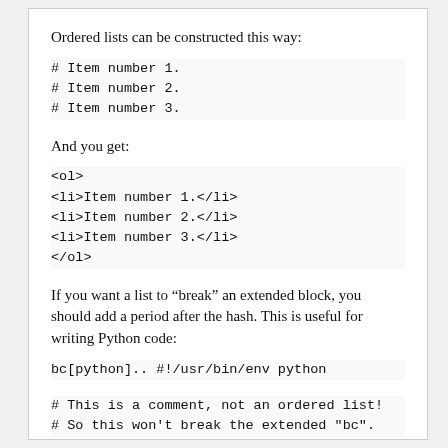Ordered lists can be constructed this way:
# Item number 1.
# Item number 2.
# Item number 3.
And you get:
<ol>
<li>Item number 1.</li>
<li>Item number 2.</li>
<li>Item number 3.</li>
</ol>
If you want a list to “break” an extended block, you should add a period after the hash. This is useful for writing Python code:
bc[python].. #!/usr/bin/env python
# This is a comment, not an ordered list!
# So this won't break the extended "bc".
Lists can be nested:
# Item number 1.
## Item number 1a.